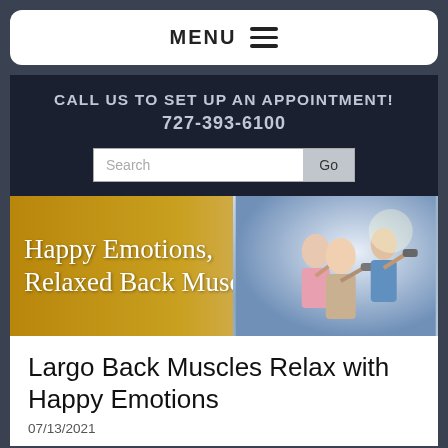MENU ≡
CALL US TO SET UP AN APPOINTMENT!
727-393-6100
[Figure (screenshot): Search box with Go button]
[Figure (illustration): Banner image with gold-to-blue gradient background and older adults exercising with dumbbells. Text reads: Happy Emotions, Relaxed Back Muscles]
Largo Back Muscles Relax with Happy Emotions
07/13/2021